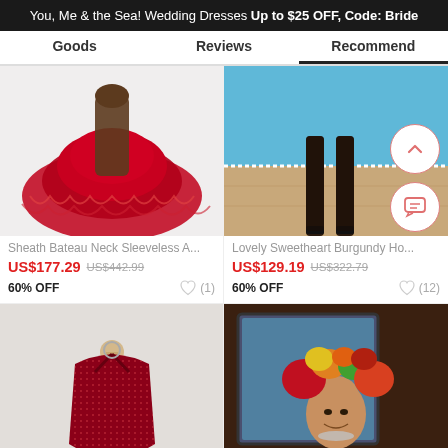You, Me & the Sea! Wedding Dresses Up to $25 OFF, Code: Bride
Goods   Reviews   Recommend
[Figure (photo): Red tulle skirt/petticoat dress product photo on model]
Sheath Bateau Neck Sleeveless A...
US$177.29  US$442.99
60% OFF  (1)
[Figure (photo): Model wearing dress standing near pool, legs visible with black heels]
Lovely Sweetheart Burgundy Ho...
US$129.19  US$322.79
60% OFF  (12)
[Figure (photo): Dark red sparkly halter dress on mannequin]
[Figure (photo): Woman in floral headpiece, colorful flowers surrounding her]
Get $5 off for your first order!
CLAIM NOW
10  ADD TO BAG